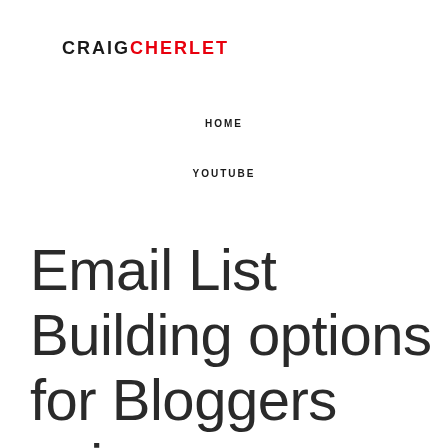CRAIGCHERLET
HOME
YOUTUBE
Email List Building options for Bloggers using GetResponse